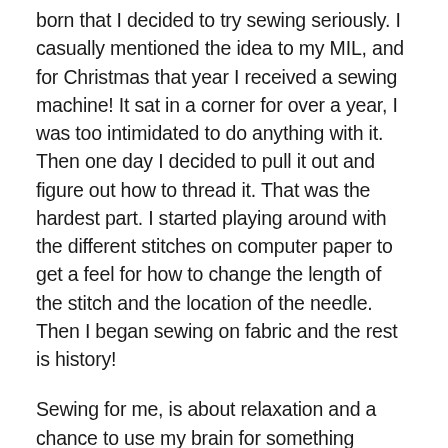born that I decided to try sewing seriously. I casually mentioned the idea to my MIL, and for Christmas that year I received a sewing machine! It sat in a corner for over a year, I was too intimidated to do anything with it. Then one day I decided to pull it out and figure out how to thread it. That was the hardest part. I started playing around with the different stitches on computer paper to get a feel for how to change the length of the stitch and the location of the needle. Then I began sewing on fabric and the rest is history!
Sewing for me, is about relaxation and a chance to use my brain for something outside of motherhood. I am a stay at home mom right now, but before I was a mom I was an engineer for several aircraft